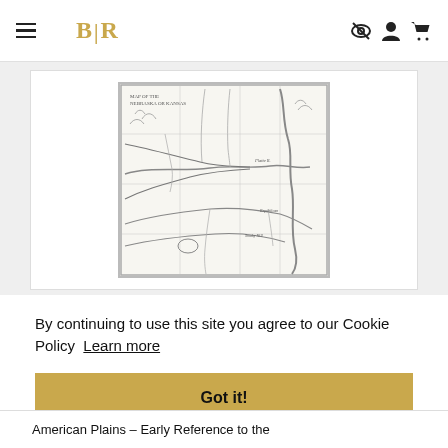BLR — navigation header with hamburger menu, logo, and icons
[Figure (map): Antique historical map of the American Plains region, showing river systems and geographic features in black and white line engraving style]
By continuing to use this site you agree to our Cookie Policy  Learn more
Got it!
American Plains – Early Reference to the